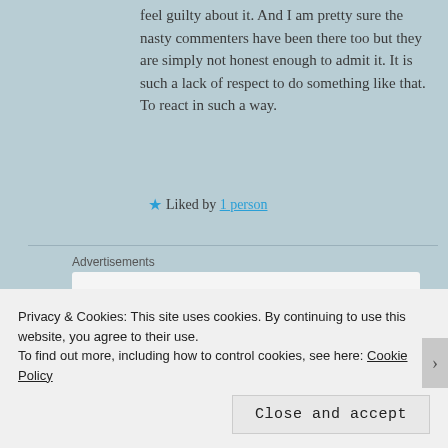feel guilty about it. And I am pretty sure the nasty commenters have been there too but they are simply not honest enough to admit it. It is such a lack of respect to do something like that. To react in such a way.
★ Liked by 1 person
Advertisements
[Figure (infographic): WordPress advertisement banner: 'Build a writing habit. Post on the go.' with GET THE APP button and WordPress logo]
Trish
Privacy & Cookies: This site uses cookies. By continuing to use this website, you agree to their use.
To find out more, including how to control cookies, see here: Cookie Policy
Close and accept